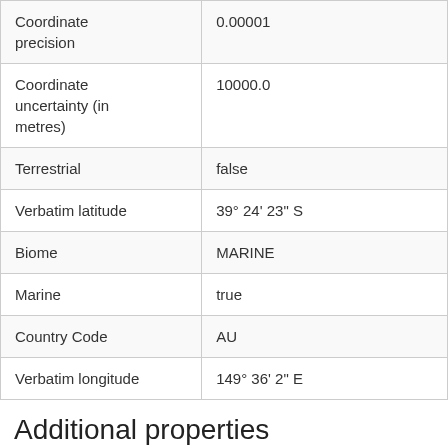| Property | Value |
| --- | --- |
| Coordinate precision | 0.00001 |
| Coordinate uncertainty (in metres) | 10000.0 |
| Terrestrial | false |
| Verbatim latitude | 39° 24' 23" S |
| Biome | MARINE |
| Marine | true |
| Country Code | AU |
| Verbatim longitude | 149° 36' 2" E |
Additional properties
| Property | Value |
| --- | --- |
| Dcterms:modified | 2019/2/28 |
| Dcterms:type | PhysicalObject |
| Verbatim... | 4b..49b... |